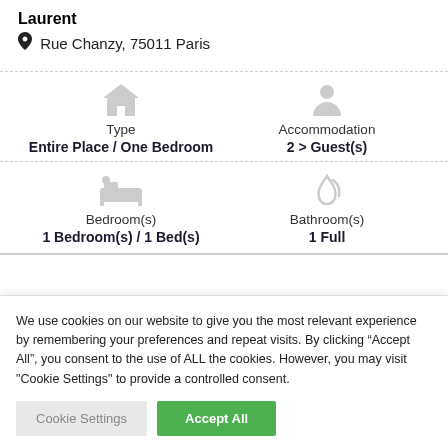Laurent
Rue Chanzy, 75011 Paris
Type
Entire Place / One Bedroom
Accommodation
2 > Guest(s)
Bedroom(s)
1 Bedroom(s) / 1 Bed(s)
Bathroom(s)
1 Full
We use cookies on our website to give you the most relevant experience by remembering your preferences and repeat visits. By clicking “Accept All”, you consent to the use of ALL the cookies. However, you may visit "Cookie Settings" to provide a controlled consent.
Cookie Settings
Accept All